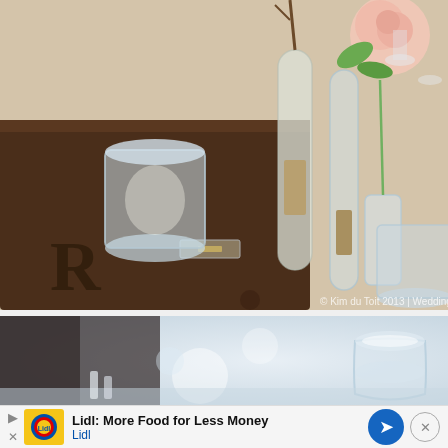[Figure (photo): Wedding table centerpiece photo showing glass vases with flowers including a pink rose, glass candle holders, and a wooden box/chest. Watermark reads '© Kim du Toit 2013 | Weddings'. Light, airy, rustic wedding decor on a wooden table.]
[Figure (photo): Close-up blurred photo of a wedding table setting showing a clear glass tumbler/wine glass and soft bokeh background in muted blues and whites.]
Lidl: More Food for Less Money
Lidl